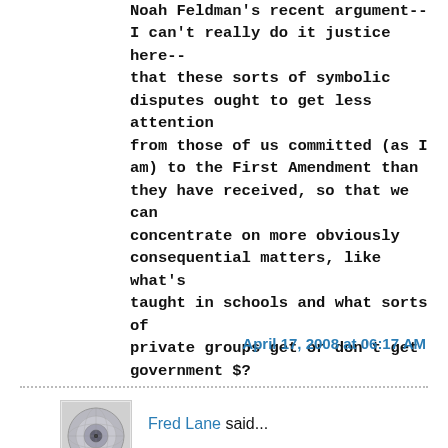Noah Feldman's recent argument-- I can't really do it justice here-- that these sorts of symbolic disputes ought to get less attention from those of us committed (as I am) to the First Amendment than they have received, so that we can concentrate on more obviously consequential matters, like what's taught in schools and what sorts of private groups get or don't get government $?
April 17, 2008 at 06:17 AM
Fred Lane said...